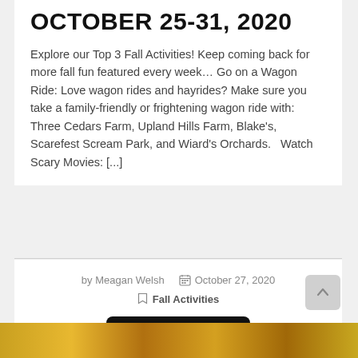OCTOBER 25-31, 2020
Explore our Top 3 Fall Activities! Keep coming back for more fall fun featured every week… Go on a Wagon Ride: Love wagon rides and hayrides? Make sure you take a family-friendly or frightening wagon ride with: Three Cedars Farm, Upland Hills Farm, Blake's, Scarefest Scream Park, and Wiard's Orchards.   Watch Scary Movies: [...]
by Meagan Welsh  October 27, 2020  Fall Activities
Read More
[Figure (photo): Colorful autumn foliage image strip at the bottom of the page]